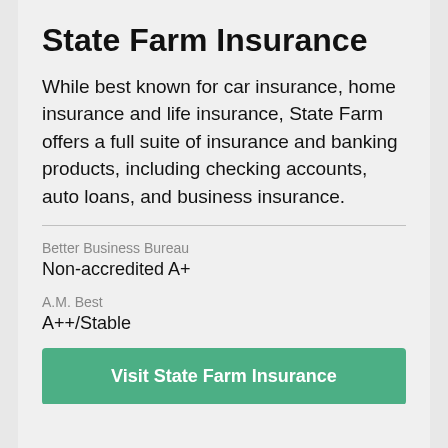State Farm Insurance
While best known for car insurance, home insurance and life insurance, State Farm offers a full suite of insurance and banking products, including checking accounts, auto loans, and business insurance.
Better Business Bureau
Non-accredited A+
A.M. Best
A++/Stable
Visit State Farm Insurance